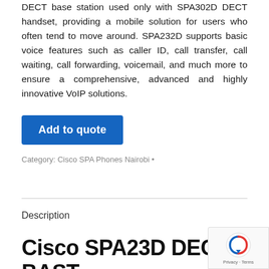DECT base station used only with SPA302D DECT handset, providing a mobile solution for users who often tend to move around. SPA232D supports basic voice features such as caller ID, call transfer, call waiting, call forwarding, voicemail, and much more to ensure a comprehensive, advanced and highly innovative VoIP solutions.
Add to quote
Category: Cisco SPA Phones Nairobi •
Description
Cisco SPA23D DECT BASE STATION + GATEWAY